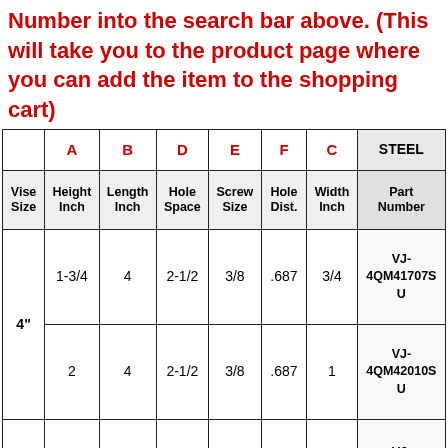Number into the search bar above. (This will take you to the product page where you can add the item to the shopping cart)
|  | A | B | D | E | F | C | STEEL |
| --- | --- | --- | --- | --- | --- | --- | --- |
| Vise Size | Height Inch | Length Inch | Hole Space | Screw Size | Hole Dist. | Width Inch | Part Number |
| 4" | 1-3/4 | 4 | 2-1/2 | 3/8 | .687 | 3/4 | VJ-4QM41707S U |
| 4" | 2 | 4 | 2-1/2 | 3/8 | .687 | 1 | VJ-4QM42010S U |
|  |  |  |  |  | 3/4 | VJ-6QM6200ZU |